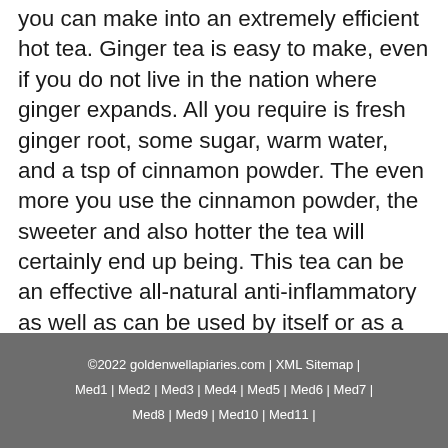you can make into an extremely efficient hot tea. Ginger tea is easy to make, even if you do not live in the nation where ginger expands. All you require is fresh ginger root, some sugar, warm water, and a tsp of cinnamon powder. The even more you use the cinnamon powder, the sweeter and also hotter the tea will certainly end up being. This tea can be an effective all-natural anti-inflammatory as well as can be used by itself or as a tasty addition to any kind of drink.
©2022 goldenwellapiaries.com | XML Sitemap | Med1 | Med2 | Med3 | Med4 | Med5 | Med6 | Med7 | Med8 | Med9 | Med10 | Med11 |